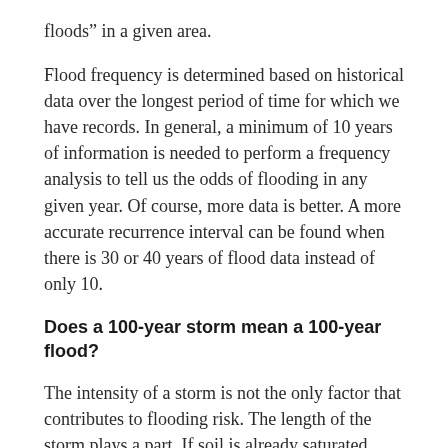floods” in a given area.
Flood frequency is determined based on historical data over the longest period of time for which we have records. In general, a minimum of 10 years of information is needed to perform a frequency analysis to tell us the odds of flooding in any given year. Of course, more data is better. A more accurate recurrence interval can be found when there is 30 or 40 years of flood data instead of only 10.
Does a 100-year storm mean a 100-year flood?
The intensity of a storm is not the only factor that contributes to flooding risk. The length of the storm plays a part. If soil is already saturated